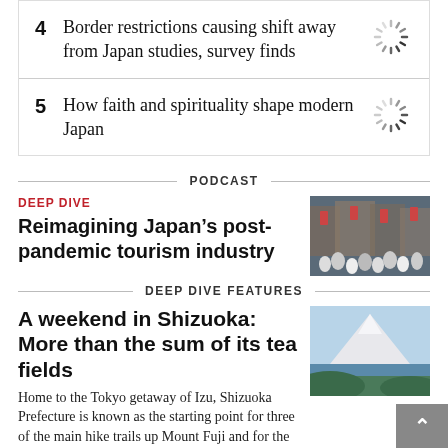4 Border restrictions causing shift away from Japan studies, survey finds
5 How faith and spirituality shape modern Japan
PODCAST
DEEP DIVE
Reimagining Japan’s post-pandemic tourism industry
[Figure (photo): Crowd of people in a Japanese street scene]
DEEP DIVE FEATURES
A weekend in Shizuoka: More than the sum of its tea fields
Home to the Tokyo getaway of Izu, Shizuoka Prefecture is known as the starting point for three of the main hike trails up Mount Fuji and for the volume of its tea production.
[Figure (photo): Scenic view of coastal landscape with mountain in background]